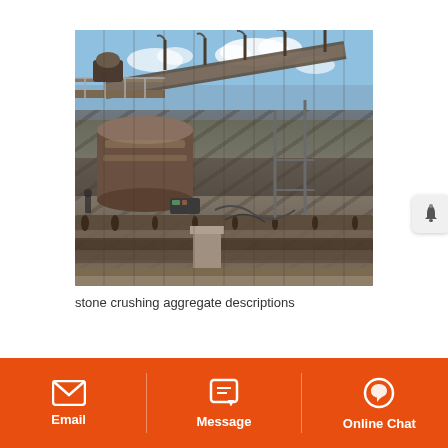[Figure (photo): Industrial stone crushing aggregate plant with large conveyor belts, a cone crusher, and steel support structures against a partly cloudy sky.]
stone crushing aggregate descriptions
Email | Message | Online Chat